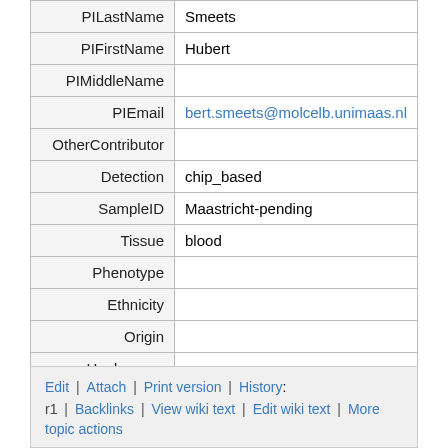| Field | Value |
| --- | --- |
| PILastName | Smeets |
| PIFirstName | Hubert |
| PIMiddleName |  |
| PIEmail | bert.smeets@molcelb.unimaas.nl |
| OtherContributor |  |
| Detection | chip_based |
| SampleID | Maastricht-pending |
| Tissue | blood |
| Phenotype |  |
| Ethnicity |  |
| Origin |  |
| Haplogroup |  |
| Comment |  |
Edit | Attach | Print version | History: r1 | Backlinks | View wiki text | Edit wiki text | More topic actions